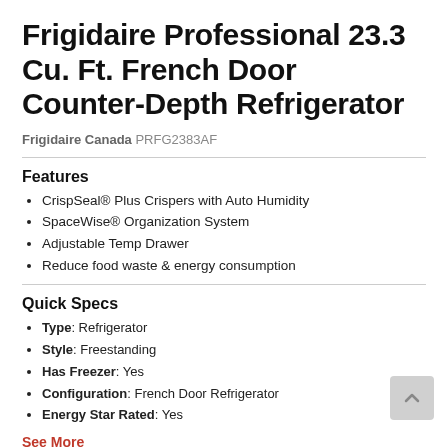Frigidaire Professional 23.3 Cu. Ft. French Door Counter-Depth Refrigerator
Frigidaire Canada PRFG2383AF
Features
CrispSeal® Plus Crispers with Auto Humidity
SpaceWise® Organization System
Adjustable Temp Drawer
Reduce food waste & energy consumption
Quick Specs
Type: Refrigerator
Style: Freestanding
Has Freezer: Yes
Configuration: French Door Refrigerator
Energy Star Rated: Yes
See More